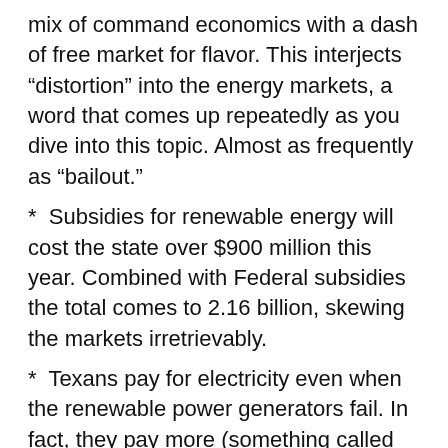mix of command economics with a dash of free market for flavor. This interjects “distortion” into the energy markets, a word that comes up repeatedly as you dive into this topic. Almost as frequently as “bailout.”
*  Subsidies for renewable energy will cost the state over $900 million this year. Combined with Federal subsidies the total comes to 2.16 billion, skewing the markets irretrievably.
*  Texans pay for electricity even when the renewable power generators fail. In fact, they pay more (something called “variability”)
*  Power companies are pushing hard for a “capacity” market that gives them guaranteed payment for energy production, whether it’s used or not. This is essentially a “bail in,” and it’s proven expensive in other parts of the U.S.
*  As much as $225 million of electricity is lost annually in transmission lines; energy the consumer can’t use